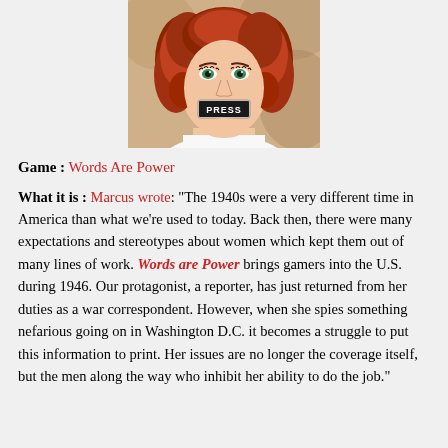[Figure (illustration): Illustrated portrait of a 1940s-style woman with red curled hair and green eyes, wearing a white top, with a 'PRESS' badge/tape over her mouth.]
Game : Words Are Power
What it is : Marcus wrote: “The 1940s were a very different time in America than what we’re used to today. Back then, there were many expectations and stereotypes about women which kept them out of many lines of work. Words are Power brings gamers into the U.S. during 1946. Our protagonist, a reporter, has just returned from her duties as a war correspondent. However, when she spies something nefarious going on in Washington D.C. it becomes a struggle to put this information to print. Her issues are no longer the coverage itself, but the men along the way who inhibit her ability to do the job.”